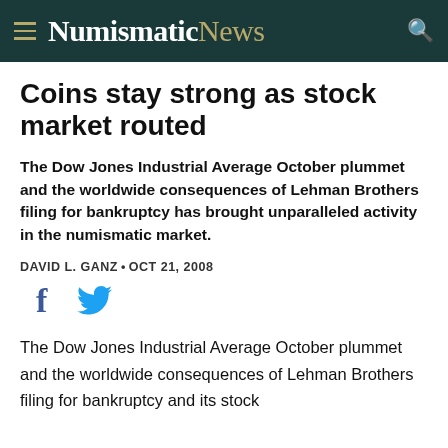NumismaticNews
Coins stay strong as stock market routed
The Dow Jones Industrial Average October plummet and the worldwide consequences of Lehman Brothers filing for bankruptcy has brought unparalleled activity in the numismatic market.
DAVID L. GANZ • OCT 21, 2008
[Figure (other): Social media share icons: Facebook (f) and Twitter (bird)]
The Dow Jones Industrial Average October plummet and the worldwide consequences of Lehman Brothers filing for bankruptcy and its stock